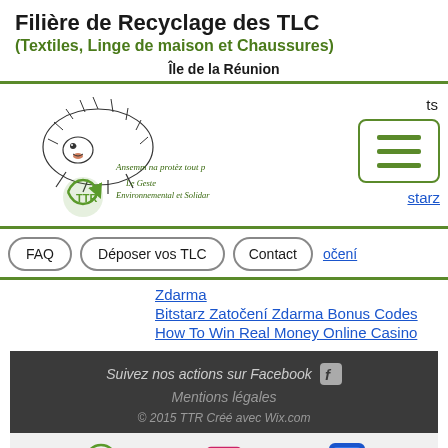Filière de Recyclage des TLC
(Textiles, Linge de maison et Chaussures)
Île de la Réunion
[Figure (logo): TTR hedgehog logo with green recycling arrows and text 'Ansemm na protès tout p / Le Geste Environnemental et Solidar']
ts
starz
FAQ   Déposer vos TLC   Contact
očení
Zdarma
Bitstarz Zatočení Zdarma Bonus Codes
How To Win Real Money Online Casino
Suivez nos actions sur Facebook
Mentions légales
© 2015 TTR  Créé avec Wix.com